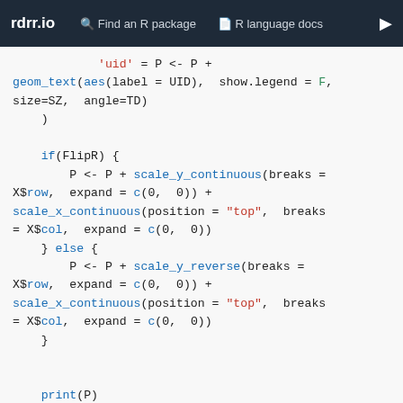rdrr.io  Find an R package  R language docs
'uid' = P <- P +
geom_text(aes(label = UID), show.legend = F,
size=SZ, angle=TD)
    )

    if(FlipR) {
        P <- P + scale_y_continuous(breaks =
X$row, expand = c(0, 0)) +
scale_x_continuous(position = "top", breaks
= X$col, expand = c(0, 0))
    } else {
        P <- P + scale_y_reverse(breaks =
X$row, expand = c(0, 0)) +
scale_x_continuous(position = "top", breaks
= X$col, expand = c(0, 0))
    }


    print(P)
}